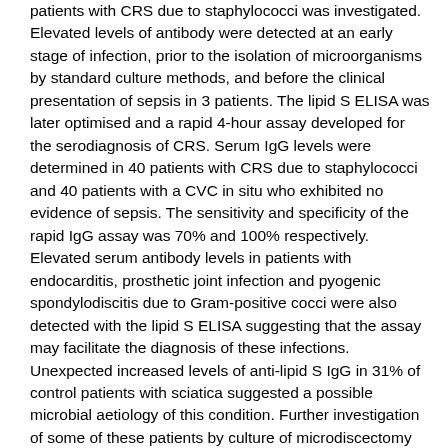patients with CRS due to staphylococci was investigated. Elevated levels of antibody were detected at an early stage of infection, prior to the isolation of microorganisms by standard culture methods, and before the clinical presentation of sepsis in 3 patients. The lipid S ELISA was later optimised and a rapid 4-hour assay developed for the serodiagnosis of CRS. Serum IgG levels were determined in 40 patients with CRS due to staphylococci and 40 patients with a CVC in situ who exhibited no evidence of sepsis. The sensitivity and specificity of the rapid IgG assay was 70% and 100% respectively. Elevated serum antibody levels in patients with endocarditis, prosthetic joint infection and pyogenic spondylodiscitis due to Gram-positive cocci were also detected with the lipid S ELISA suggesting that the assay may facilitate the diagnosis of these infections. Unexpected increased levels of anti-lipid S IgG in 31% of control patients with sciatica suggested a possible microbial aetiology of this condition. Further investigation of some of these patients by culture of microdiscectomy tissue removed at operation, revealed the presence of low-virulent microorganisms in 37% of patients of which Propionibacterium aeries accounted for 85% of the positive culture isolates. The results suggested a previously unrecognised association between P. acnes and sciatica, which may have implications for the future